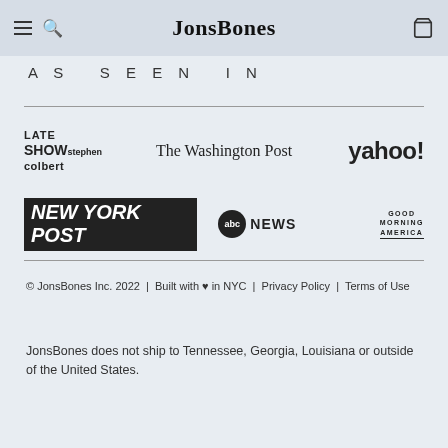JonsBones
AS SEEN IN
[Figure (logo): Media logos: LATE SHOW stephen colbert, The Washington Post, yahoo!, NEW YORK POST, abc NEWS, GOOD MORNING AMERICA]
© JonsBones Inc. 2022 | Built with ♥ in NYC | Privacy Policy | Terms of Use
JonsBones does not ship to Tennessee, Georgia, Louisiana or outside of the United States.